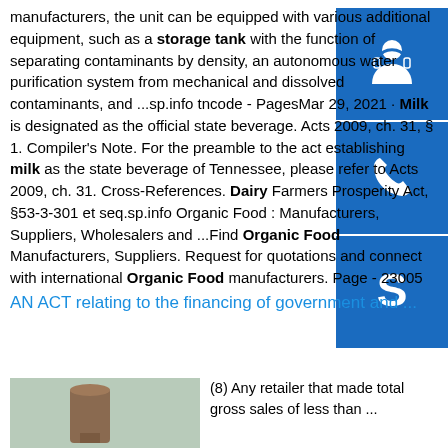manufacturers, the unit can be equipped with various additional equipment, such as a storage tank with the function of separating contaminants by density, an autonomous water purification system from mechanical and dissolved contaminants, and ...sp.info tncode - PagesMar 29, 2021 · Milk is designated as the official state beverage. Acts 2009, ch. 31, § 1. Compiler's Note. For the preamble to the act establishing milk as the state beverage of Tennessee, please refer to Acts 2009, ch. 31. Cross-References. Dairy Farmers Prosperity Act, §53-3-301 et seq.sp.info Organic Food : Manufacturers, Suppliers, Wholesalers and ...Find Organic Food Manufacturers, Suppliers. Request for quotations and connect with international Organic Food manufacturers. Page - 23005
[Figure (infographic): Three blue square buttons in a vertical column on the right side: top button has a customer support headset/person icon, middle button has a phone/call icon, bottom button has a Skype 'S' icon.]
AN ACT relating to the financing of government and ...
[Figure (photo): Photo of a cylindrical storage tank or silo, likely dairy/food related.]
(8) Any retailer that made total gross sales of less than ...